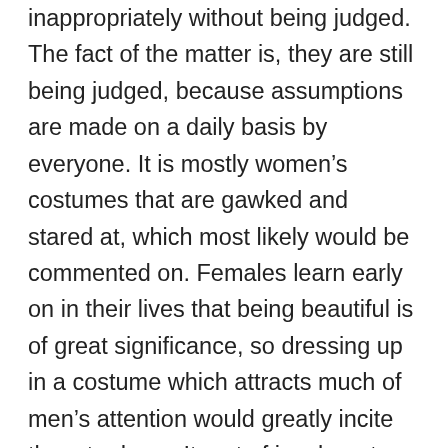inappropriately without being judged. The fact of the matter is, they are still being judged, because assumptions are made on a daily basis by everyone. It is mostly women's costumes that are gawked and stared at, which most likely would be commented on. Females learn early on in their lives that being beautiful is of great significance, so dressing up in a costume which attracts much of men's attention would greatly incite them to do so. It sort of is a beauty pageant in disguise for these women on Halloween day; the more attention they gather, they more they feel beautiful, which in turn causes them to feel good about themselves. This is only my opinion. I wonder what the motives are for the women who dress “sluty.” Do they do ot beca the acquire a ense a d